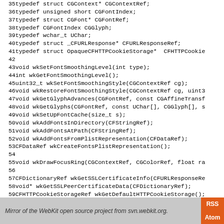Code listing lines 35–63 of WebKitSystemInterface.h
Mirror of the WebKit open source project from svn.webkit.org.